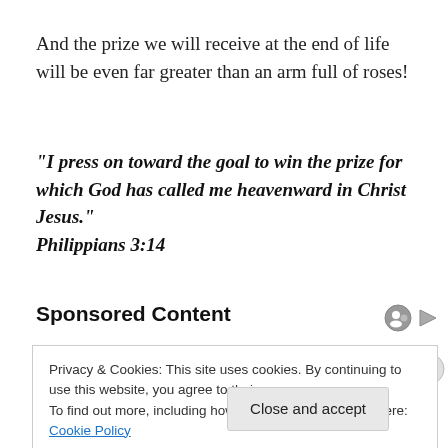And the prize we will receive at the end of life will be even far greater than an arm full of roses!
“I press on toward the goal to win the prize for which God has called me heavenward in Christ Jesus.” Philippians 3:14
Sponsored Content
Privacy & Cookies: This site uses cookies. By continuing to use this website, you agree to their use.
To find out more, including how to control cookies, see here: Cookie Policy